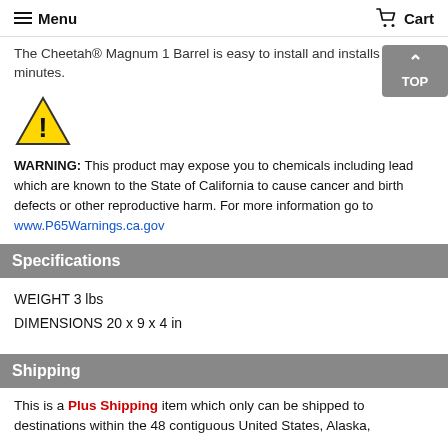Menu | Cart
The Cheetah® Magnum 1 Barrel is easy to install and installs in only minutes.
[Figure (illustration): Yellow warning triangle with exclamation mark icon]
WARNING: This product may expose you to chemicals including lead which are known to the State of California to cause cancer and birth defects or other reproductive harm. For more information go to www.P65Warnings.ca.gov
Specifications
WEIGHT 3 lbs
DIMENSIONS 20 x 9 x 4 in
Shipping
This is a Plus Shipping item which only can be shipped to destinations within the 48 contiguous United States, Alaska,